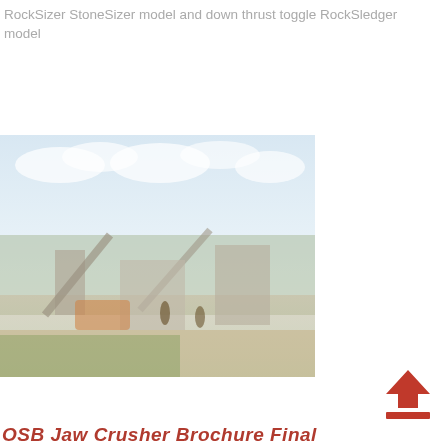RockSizer StoneSizer model and down thrust toggle RockSledger model
[Figure (photo): Outdoor photograph of a jaw crusher / stone crushing plant in operation in a field setting, with blue sky and clouds in the background and green vegetation in the foreground. Heavy machinery including conveyors and crushers are visible.]
[Figure (infographic): Red upward-pointing arrow icon with a horizontal bar beneath it, resembling an upload or scroll-to-top button.]
OSB Jaw Crusher Brochure Final